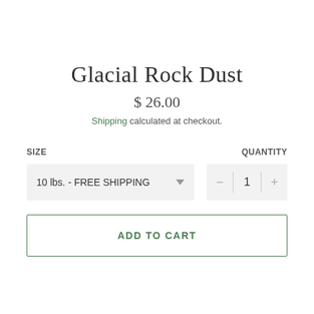Glacial Rock Dust
$ 26.00
Shipping calculated at checkout.
SIZE
QUANTITY
10 lbs. - FREE SHIPPING
1
ADD TO CART